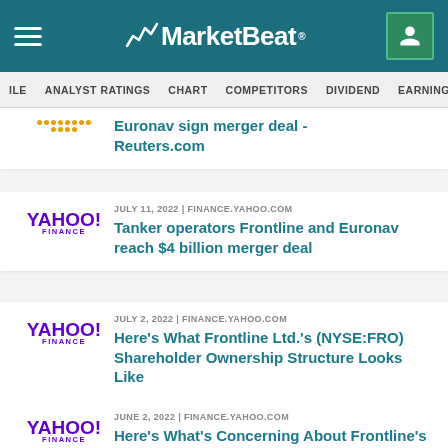MarketBeat
FILE | ANALYST RATINGS | CHART | COMPETITORS | DIVIDEND | EARNINGS | >FIN
Euronav sign merger deal - Reuters.com
JULY 11, 2022 | FINANCE.YAHOO.COM — Tanker operators Frontline and Euronav reach $4 billion merger deal
JULY 2, 2022 | FINANCE.YAHOO.COM — Here's What Frontline Ltd.'s (NYSE:FRO) Shareholder Ownership Structure Looks Like
JUNE 2, 2022 | FINANCE.YAHOO.COM — Here's What's Concerning About Frontline's (NYSE:FRO) Returns On Capital